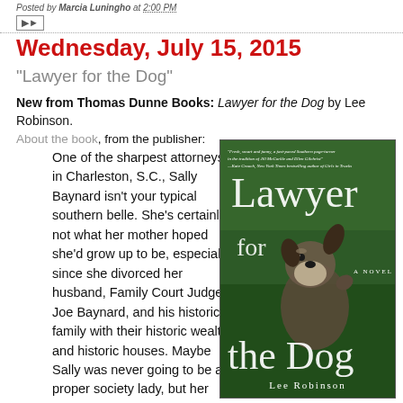Posted by Marcia Luningho at 2:00 PM
Wednesday, July 15, 2015
"Lawyer for the Dog"
New from Thomas Dunne Books: Lawyer for the Dog by Lee Robinson.
About the book, from the publisher:
One of the sharpest attorneys in Charleston, S.C., Sally Baynard isn't your typical southern belle. She's certainly not what her mother hoped she'd grow up to be, especially since she divorced her husband, Family Court Judge Joe Baynard, and his historic family with their historic wealth and historic houses. Maybe Sally was never going to be a proper society lady, but her success as a public
[Figure (photo): Book cover of 'Lawyer for the Dog' by Lee Robinson. Shows a schnauzer dog on a green lawn background with the title text and author name.]